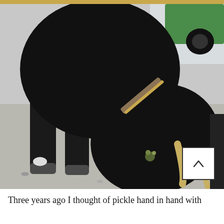[Figure (photo): Close-up photo of a black cow with horns bending its head down toward the ground on a street. The cow is wearing a collar with decorative elements. A green vehicle is visible in the upper right background. The cow's hooves and legs are visible.]
Three years ago I thought of pickle hand in hand with